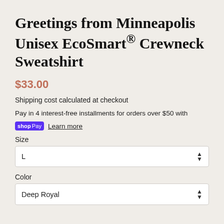Greetings from Minneapolis Unisex EcoSmart® Crewneck Sweatshirt
$33.00
Shipping cost calculated at checkout
Pay in 4 interest-free installments for orders over $50 with
shopPay  Learn more
Size
L
Color
Deep Royal